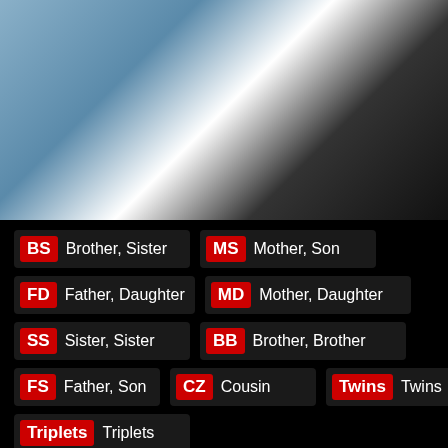[Figure (photo): A young woman with dark braided pigtails wearing a white shirt and dark outfit, photographed from above at an angle]
BS Brother, Sister
MS Mother, Son
FD Father, Daughter
MD Mother, Daughter
SS Sister, Sister
BB Brother, Brother
FS Father, Son
CZ Cousin
Twins Twins
Triplets Triplets